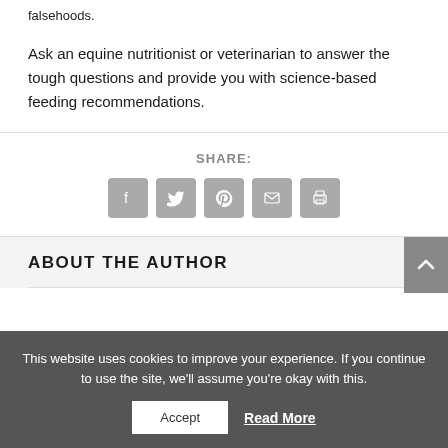falsehoods.
Ask an equine nutritionist or veterinarian to answer the tough questions and provide you with science-based feeding recommendations.
SHARE:
[Figure (infographic): Social share icon buttons: Facebook, Twitter, Pinterest, Email, Print]
ABOUT THE AUTHOR
This website uses cookies to improve your experience. If you continue to use the site, we'll assume you're okay with this.